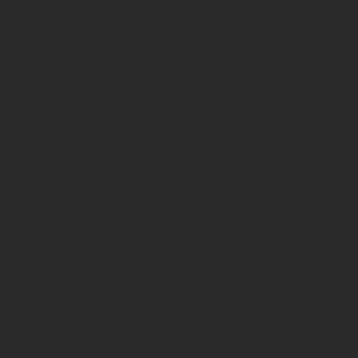M-W: About the next single, do you know if and whe
We have no idea yet ourselves if there will be a new s matter. The album is the most important thing. But if the
M-W: And do you have an idea of which song it woul
My favourite song is Fools Of Damnation, because a l Safeguard To Paradise. But it's maybe too soft for radio.
M-W: About the video clips, do you usually come wit
For the last video, the director got the lyrics of the son liked and what we didn't like. That's also how we like to we're too busy with all the other stuff.
M-W: Do you have some extra material for upcoming
No, everything has been used now. We had the Replica s them right away on the limited edition. Oh and we have
M-W: On the 26th of December, you are going to p between you and Sander Gommans, do you plan on example?
I would like to do that, you know I still like the old song If they invite me to do it, I would say yes. But it's totally
M-W: You're planning a headliner tour in Europe. De
No because it's still in process. But of course France w release, it was not going that well for us there. But The a play again. So Germany, and Spain of course!
M-W: About Nuclear Blast, I believe that if you chos new CD, but are there other things that are planned?